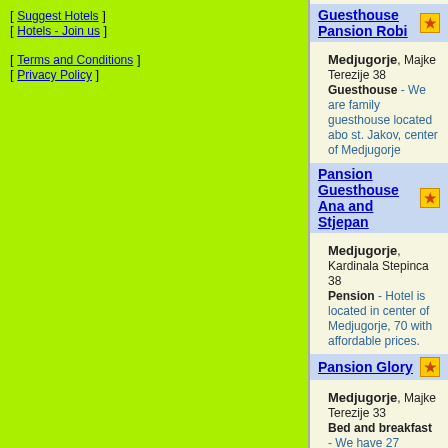[ Suggest Hotels ]
[ Hotels - Join us ]
[ Terms and Conditions ]
[ Privacy Policy ]
Guesthouse Pansion Robi
Medjugorje, Majke Terezije 38
Guesthouse - We are family guesthouse located abo... st. Jakov, center of Medjugorje
Pansion Guesthouse Ana and Stjepan
Medjugorje, Kardinala Stepinca 38
Pension - Hotel is located in center of Medjugorje, 70... with affordable prices.
Pansion Glory
Medjugorje, Majke Terezije 33
Bed and breakfast - We have 27 comfortable rooms
Regina Mundi
Medjugorje, Hrvatskih Branitelja 4
Guesthouse - Regina Mundi is a convivial guest hous... James' church and offering great value for money.
Penne, Italy
Casa Christiana B and B
Penne, Contrada Pagliari, 36
Bed and breakfast - Luxury Bed & Breakfast in Abru...